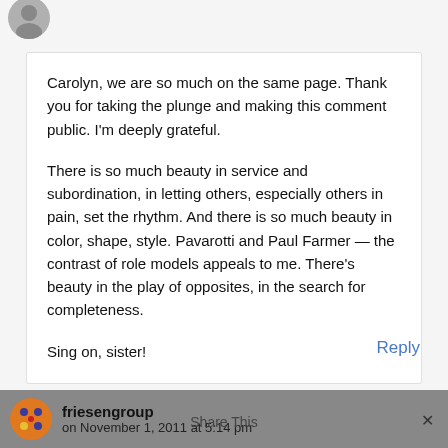[Figure (photo): Small circular avatar photo of a person at the top left]
Carolyn, we are so much on the same page. Thank you for taking the plunge and making this comment public. I'm deeply grateful.

There is so much beauty in service and subordination, in letting others, especially others in pain, set the rhythm. And there is so much beauty in color, shape, style. Pavarotti and Paul Farmer — the contrast of role models appeals to me. There's beauty in the play of opposites, in the search for completeness.

Sing on, sister!
Reply
[Figure (logo): Circular logo with orange background and blue/yellow dots pattern for friesengroup]
friesengroup on November 1, 2011 at 5:14 pm